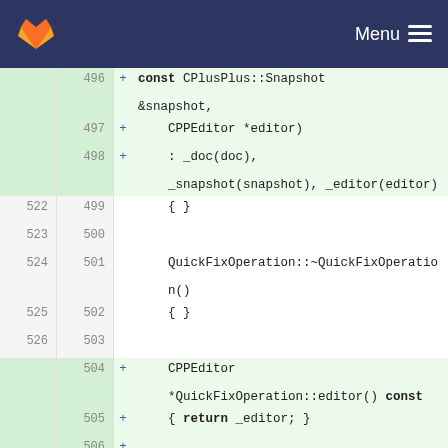GitLab — Menu
[Figure (screenshot): Code diff view showing C++ source lines 496-507 / 522-527 with added lines highlighted in green]
496  +    const CPlusPlus::Snapshot &snapshot,
497  +    CPPEditor *editor)
498  +    : _doc(doc), _snapshot(snapshot), _editor(editor)
522  499  { }
523  500
524  501    QuickFixOperation::~QuickFixOperation()
525  502  { }
526  503
     504  + CPPEditor *QuickFixOperation::editor() const
     505  + { return _editor; }
     506  +
527  507    QTextCursor QuickFixOperation::textCursor() const